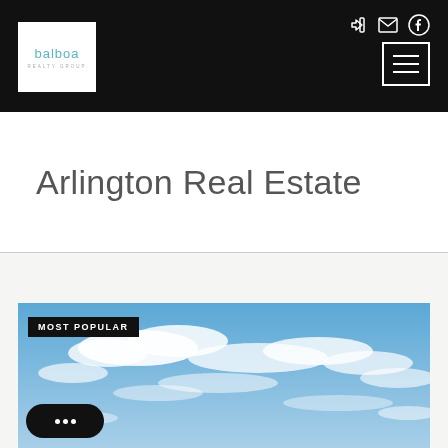[Figure (logo): Balboa Realty Group logo — white box with teal 'balboa' text and small grey subtitle text]
Arlington Real Estate
[Figure (photo): Blue sky with white clouds, a 'MOST POPULAR' black badge overlay in top-left, and a black rounded chat button with three dots in the bottom-left corner]